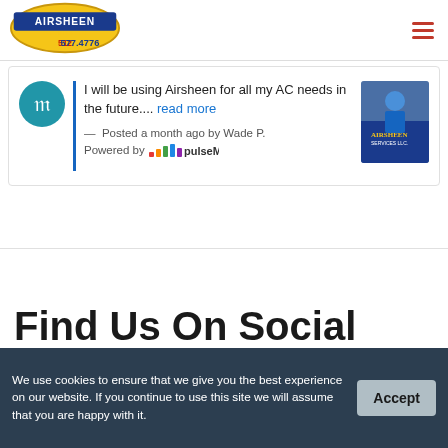[Figure (logo): Airsheen Services LLC logo with phone number 512 577.4776]
[Figure (other): Hamburger menu icon (three red horizontal lines)]
I will be using Airsheen for all my AC needs in the future.... read more
— Posted a month ago by Wade P.
Powered by pulseM
[Figure (photo): Photo of technician in blue uniform in front of Airsheen Services truck]
Find Us On Social
We use cookies to ensure that we give you the best experience on our website. If you continue to use this site we will assume that you are happy with it.